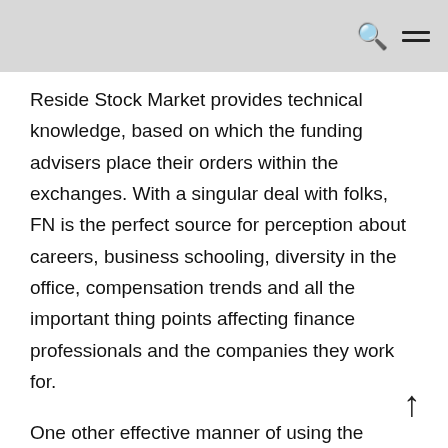🔍 ≡
Reside Stock Market provides technical knowledge, based on which the funding advisers place their orders within the exchanges. With a singular deal with folks, FN is the perfect source for perception about careers, business schooling, diversity in the office, compensation trends and all the important thing points affecting finance professionals and the companies they work for.
One other effective manner of using the financial community news providers is to see how a particular inventory reacts to a report. Some started advisory providers and then upgraded into merchant banks, whereas others began stockbroking companies, which were elevated into low cost homes. Often, after I would get house from work and put together dinner, the video